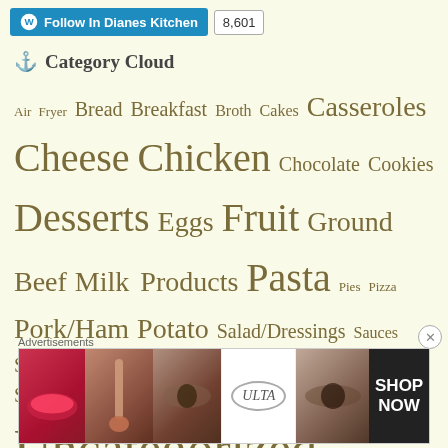[Figure (screenshot): WordPress Follow button for In Dianes Kitchen with 8,601 followers count badge]
Category Cloud
Air Fryer Bread Breakfast Broth Cakes Casseroles Cheese Chicken Chocolate Cookies Desserts Eggs Fruit Ground Beef Milk Products Pasta Pies Pizza Pork/Ham Potato Salad/Dressings Sauces Sausage/Kielbasa Seafood Slow Cooker Snacks/Appetizers Soup Spices/Seasoning Uncategorized Vegetables/Slaws/Salad
Advertisements
[Figure (photo): ULTA Beauty advertisement banner showing makeup photos with shop now button]